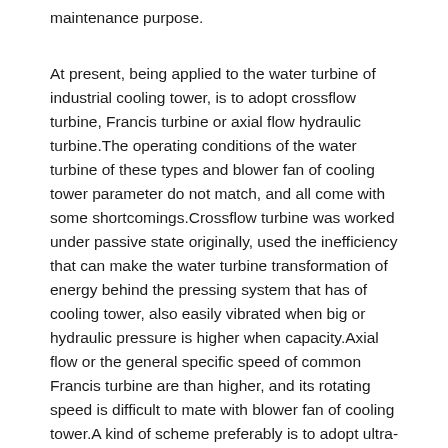maintenance purpose.
At present, being applied to the water turbine of industrial cooling tower, is to adopt crossflow turbine, Francis turbine or axial flow hydraulic turbine.The operating conditions of the water turbine of these types and blower fan of cooling tower parameter do not match, and all come with some shortcomings.Crossflow turbine was worked under passive state originally, used the inefficiency that can make the water turbine transformation of energy behind the pressing system that has of cooling tower, also easily vibrated when big or hydraulic pressure is higher when capacity.Axial flow or the general specific speed of common Francis turbine are than higher, and its rotating speed is difficult to mate with blower fan of cooling tower.A kind of scheme preferably is to adopt ultra-low specific speed mixed-flow type turbine, can make rotational speed of water turbine and blower fan coupling, but the ultra-low specific speed mixed-flow type turbine planar dimension is bigger, influences the passage of cooling tower air-flow.For this reason, be necessary to overcome the defective of existing blower fan hydraulic drive apparatus, work out that a kind of rotating speed is